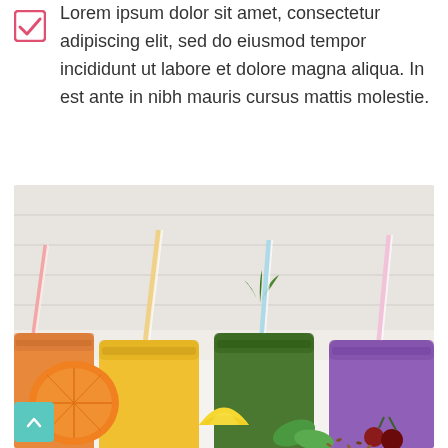Lorem ipsum dolor sit amet, consectetur adipiscing elit, sed do eiusmod tempor incididunt ut labore et dolore magna aliqua. In est ante in nibh mauris cursus mattis molestie.
[Figure (photo): Four mason jars filled with colorful smoothies (orange, yellow, dark green, purple) with striped straws, surrounded by fruits including orange slices, lemon wedges, cherries, and spinach leaves on a white surface.]